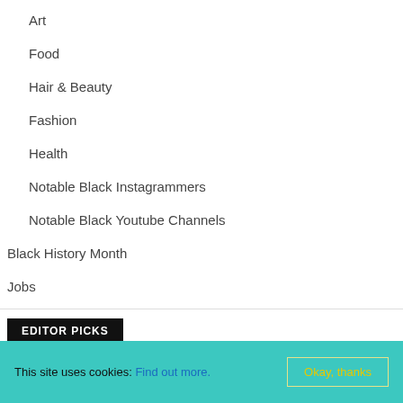Art
Food
Hair & Beauty
Fashion
Health
Notable Black Instagrammers
Notable Black Youtube Channels
Black History Month
Jobs
EDITOR PICKS
Janets List – online shop – is open for Business
admin - April 28, 2020
This site uses cookies: Find out more.